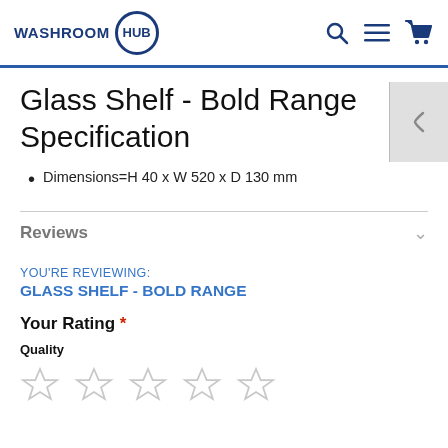WASHROOM HUB
Glass Shelf - Bold Range Specification
Dimensions=H 40 x W 520 x D 130 mm
Reviews
YOU'RE REVIEWING:
GLASS SHELF - BOLD RANGE
Your Rating *
Quality